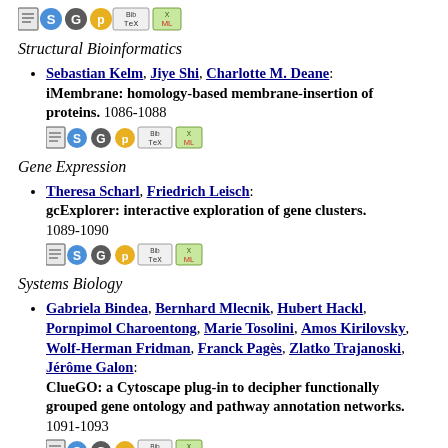[Figure (other): Row of icon buttons (document, S, G, P, BibTeX, XML)]
Structural Bioinformatics
Sebastian Kelm, Jiye Shi, Charlotte M. Deane: iMembrane: homology-based membrane-insertion of proteins. 1086-1088
[Figure (other): Row of icon buttons (document, S, G, P, BibTeX, XML)]
Gene Expression
Theresa Scharl, Friedrich Leisch: gcExplorer: interactive exploration of gene clusters. 1089-1090
[Figure (other): Row of icon buttons (document, S, G, P, BibTeX, XML)]
Systems Biology
Gabriela Bindea, Bernhard Mlecnik, Hubert Hackl, Pornpimol Charoentong, Marie Tosolini, Amos Kirilovsky, Wolf-Herman Fridman, Franck Pagès, Zlatko Trajanoski, Jérôme Galon: ClueGO: a Cytoscape plug-in to decipher functionally grouped gene ontology and pathway annotation networks. 1091-1093